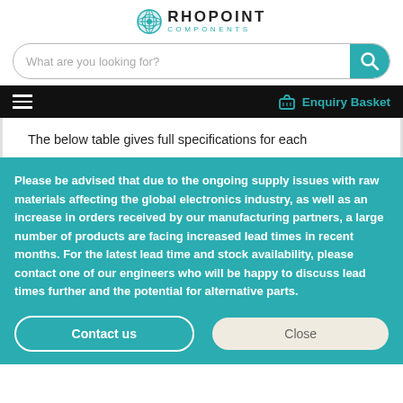[Figure (logo): Rhopoint Components logo — globe/circuit icon with RHOPOINT in bold dark text and COMPONENTS in teal small caps]
[Figure (screenshot): Search bar with placeholder text 'What are you looking for?' and teal search button with magnifying glass icon]
Enquiry Basket
The below table gives full specifications for each
Please be advised that due to the ongoing supply issues with raw materials affecting the global electronics industry, as well as an increase in orders received by our manufacturing partners, a large number of products are facing increased lead times in recent months. For the latest lead time and stock availability, please contact one of our engineers who will be happy to discuss lead times further and the potential for alternative parts.
Contact us
Close